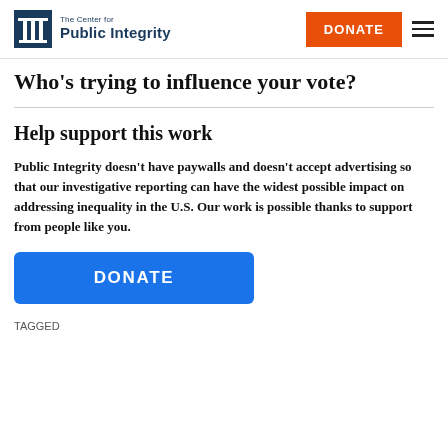The Center for Public Integrity | DONATE
Who's trying to influence your vote?
Help support this work
Public Integrity doesn't have paywalls and doesn't accept advertising so that our investigative reporting can have the widest possible impact on addressing inequality in the U.S. Our work is possible thanks to support from people like you.
DONATE
TAGGED